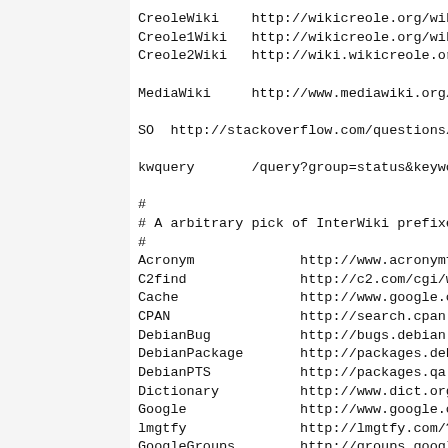CreoleWiki    http://wikicreole.org/wiki/
Creole1Wiki   http://wikicreole.org/wiki/
Creole2Wiki   http://wiki.wikicreole.org/

MediaWiki     http://www.mediawiki.org/wiki/

SO  http://stackoverflow.com/questions/ # Ques

kwquery       /query?group=status&keywords=~  #

#
# A arbitrary pick of InterWiki prefixes...
#
Acronym             http://www.acronymfinder.com/
C2find              http://c2.com/cgi/wiki?FindPa
Cache               http://www.google.com/search?
CPAN                http://search.cpan.org/perldo
DebianBug           http://bugs.debian.org/
DebianPackage       http://packages.debian.org/
DebianPTS           http://packages.qa.debian.org
Dictionary          http://www.dict.org/bin/Dict?
Google              http://www.google.com/search?
lmgtfy              http://lmgtfy.com/?q= # Well,
GoogleGroups        http://groups.google.com/grou
gdiscussion         https://groups.google.com/d/t
gmessage            https://groups.google.com/d/m
JargonFile          http://downlode.org/perl/jarg
MeatBall            http://www.usemod.com/cgi-bin
MetaWiki            http://sunir.org/apps/meta.pl
MeatWikiPaLi...